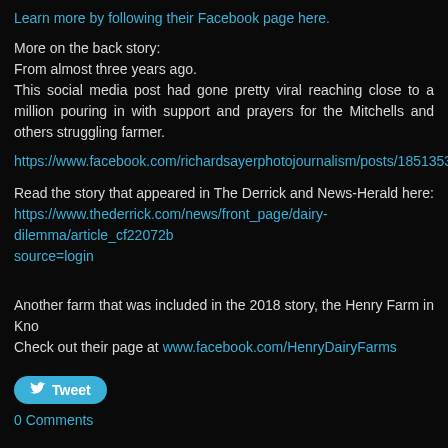Learn more by following their Facebook page here.
More on the back story:
From almost three years ago.
This social media post had gone pretty viral reaching close to a million pouring in with support and prayers for the Mitchells and others struggling farmer.
https://www.facebook.com/richardsayerphotojournalism/posts/18513538084
Read the story that appeared in The Derrick and News-Herald here:
https://www.thederrick.com/news/front_page/dairy-dilemma/article_cf22072b source=login
Another farm that was included in the 2018 story, the Henry Farm in Kno Check out their page at www.facebook.com/HenryDairyFarms
Tweet
0 Comments